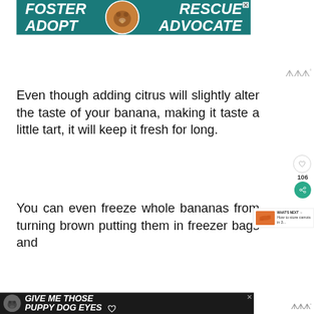[Figure (other): Advertisement banner with teal background showing a dog, text: FOSTER ADOPT RESCUE ADVOCATE]
Even though adding citrus will slightly alter the taste of your banana, making it taste a little tart, it will keep it fresh for long.
You can even freeze whole bananas from turning brown putting them in freezer bags and
[Figure (other): Bottom advertisement banner on dark background: GIVE ME THOSE PUPPY DOG EYES]